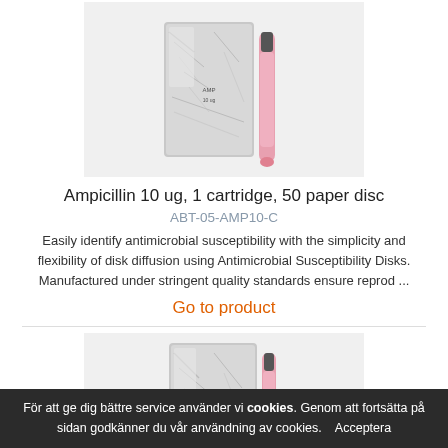[Figure (photo): Photo of Ampicillin antimicrobial susceptibility disk cartridge in silver foil packaging with a pink-tipped applicator pen]
Ampicillin 10 ug, 1 cartridge, 50 paper disc
ABT-05-AMP10-C
Easily identify antimicrobial susceptibility with the simplicity and flexibility of disk diffusion using Antimicrobial Susceptibility Disks. Manufactured under stringent quality standards ensure reprod ...
Go to product
[Figure (photo): Photo of another antimicrobial susceptibility disk cartridge in silver foil packaging with a pink applicator pen, partially visible]
För att ge dig bättre service använder vi cookies. Genom att fortsätta på sidan godkänner du vår användning av cookies. Acceptera